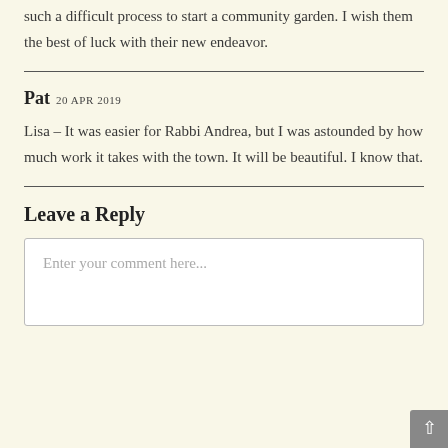such a difficult process to start a community garden. I wish them the best of luck with their new endeavor.
Pat 20 APR 2019
Lisa – It was easier for Rabbi Andrea, but I was astounded by how much work it takes with the town. It will be beautiful. I know that.
Leave a Reply
Enter your comment here...